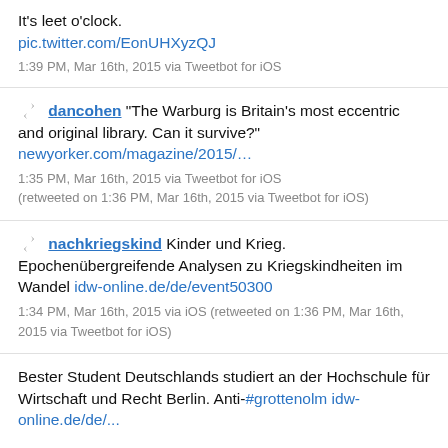It's leet o'clock. pic.twitter.com/EonUHXyzQJ
1:39 PM, Mar 16th, 2015 via Tweetbot for iOS
dancohen “The Warburg is Britain’s most eccentric and original library. Can it survive?” newyorker.com/magazine/2015/…
1:35 PM, Mar 16th, 2015 via Tweetbot for iOS (retweeted on 1:36 PM, Mar 16th, 2015 via Tweetbot for iOS)
nachkriegskind Kinder und Krieg. Epochenübergreifende Analysen zu Kriegskindheiten im Wandel idw-online.de/de/event50300
1:34 PM, Mar 16th, 2015 via iOS (retweeted on 1:36 PM, Mar 16th, 2015 via Tweetbot for iOS)
Bester Student Deutschlands studiert an der Hochschule für Wirtschaft und Recht Berlin. Anti-#grottenolm idw-online.de/de/...